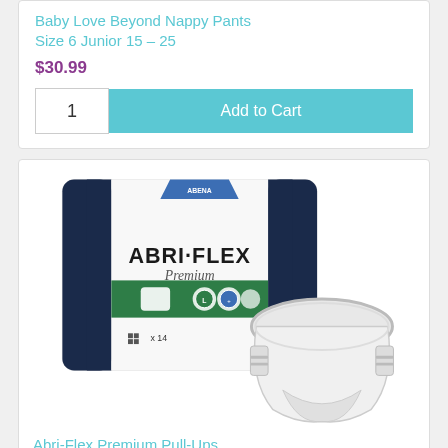Baby Love Beyond Nappy Pants Size 6 Junior 15 - 25
$30.99
1  Add to Cart
[Figure (photo): Abri-Flex Premium Pull-Ups product package and a single white pull-up brief shown against a white background. Package is white with dark navy blue sides, green band, and bold ABRI·FLEX Premium branding. Package shows x14 count.]
Abri-Flex Premium Pull-Ups M1 6D(80 - 110cm, 1400m